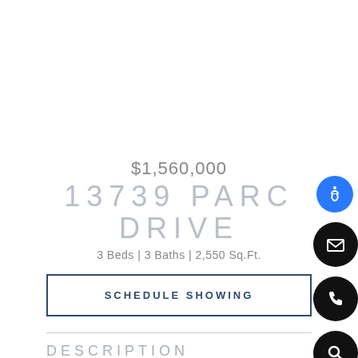$1,560,000
13739 PARC DRIVE
3 Beds | 3 Baths | 2,550 Sq.Ft.
SCHEDULE SHOWING
DESCRIPTION